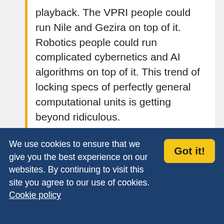playback. The VPRI people could run Nile and Gezira on top of it. Robotics people could run complicated cybernetics and AI algorithms on top of it. This trend of locking specs of perfectly general computational units is getting beyond ridiculous.
JamesH
22nd April 2013, 1:29
We use cookies to ensure that we give you the best experience on our websites. By continuing to visit this site you agree to our use of cookies. Cookie policy